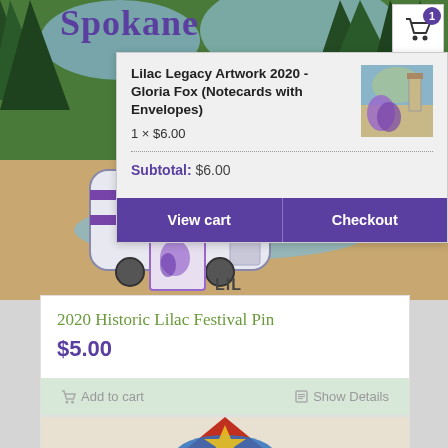[Figure (screenshot): E-commerce webpage screenshot showing a shopping cart popup overlay on a Spokane Lilac Festival product page. Top shows painted scene with a caravan/trailer and trees. Cart popup shows 'Lilac Legacy Artwork 2020 - Gloria Fox (Notecards with Envelopes)' item at 1 x $6.00, subtotal $6.00, with View cart and Checkout buttons. Below is the '2020 Historic Lilac Festival Pin' product card priced at $5.00 with Add to cart and Show Details buttons. At bottom, a second product card is partially visible.]